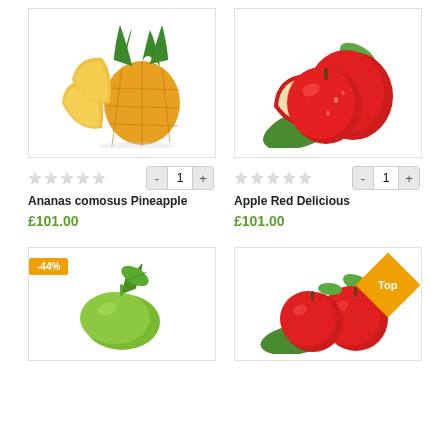[Figure (photo): Pineapple with sliced pieces on white background]
★★★★★  -  1  +
Ananas comosus Pineapple
£101.00
[Figure (photo): Red apples with green leaves on white background]
★★★★★  -  1  +
Apple Red Delicious
£101.00
[Figure (photo): Lime/avocado fruit with -44% badge on white background]
[Figure (photo): Red apples with Top badge on white background]